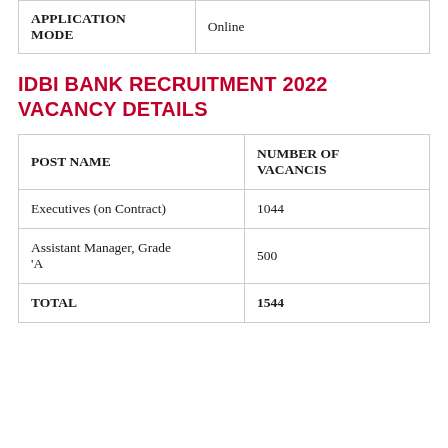|  |  |
| --- | --- |
| APPLICATION MODE | Online |
IDBI BANK RECRUITMENT 2022 VACANCY DETAILS
| POST NAME | NUMBER OF VACANCIS |
| --- | --- |
| Executives (on Contract) | 1044 |
| Assistant Manager, Grade 'A | 500 |
| TOTAL | 1544 |